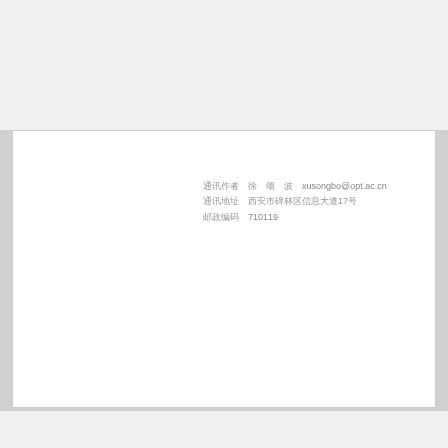通讯作者 徐颂波 xusongbo@opt.ac.cn 通讯地址 西安市碑林区信息大道17号 邮政编码 710119